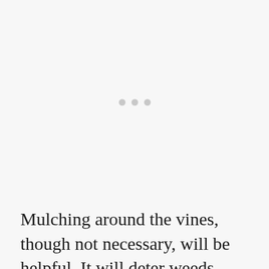[Figure (other): Large mostly blank image placeholder area with three small grey dots centered near the middle of the image area]
Mulching around the vines, though not necessary, will be helpful. It will deter weeds